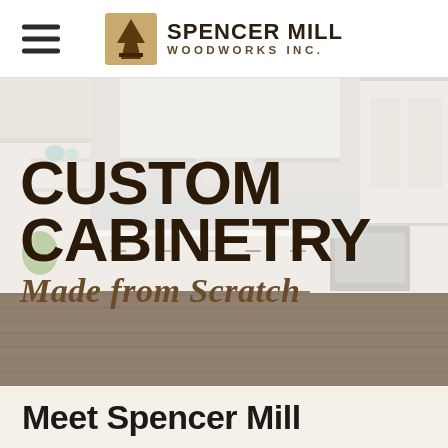Spencer Mill Woodworks Inc. — navigation header with hamburger menu and logo
[Figure (photo): Kitchen interior with white custom cabinetry, open shelving with decorative items, dark hardwood floors, and stainless steel appliances. Overlay text reads CUSTOM CABINETRY Made from Scratch.]
Meet Spencer Mill